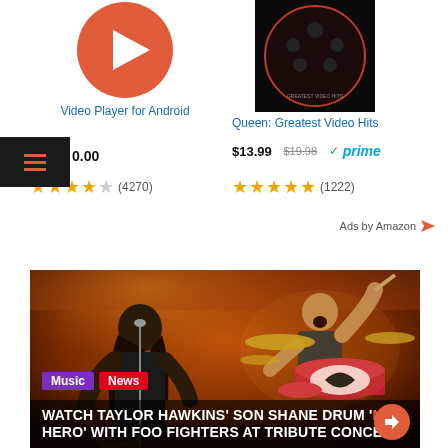[Figure (screenshot): Video Player for Android app icon - red circle with white play triangle]
Video Player for Android
[Figure (screenshot): Queen: Greatest Video Hits album cover - dark with band members]
Queen: Greatest Video Hits
$13.99  $19.98  ✓prime
★★★★★ (4270)
★★★★★ (1222)
Ads by Amazon
[Figure (photo): Concert photo: Dave Grohl on guitar and Shane Hawkins drumming at Foo Fighters tribute concert]
Music  News
WATCH TAYLOR HAWKINS' SON SHANE DRUM 'MY HERO' WITH FOO FIGHTERS AT TRIBUTE CONCERT